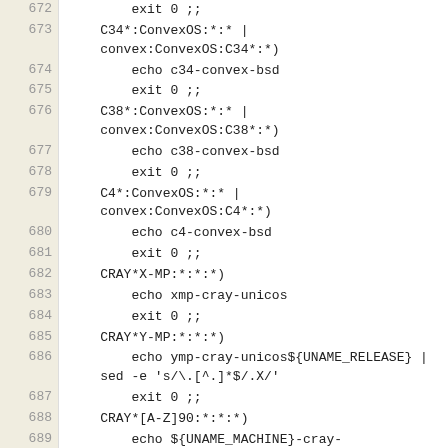Source code listing, lines 672-690, shell script with case patterns for Convex and Cray system detection.